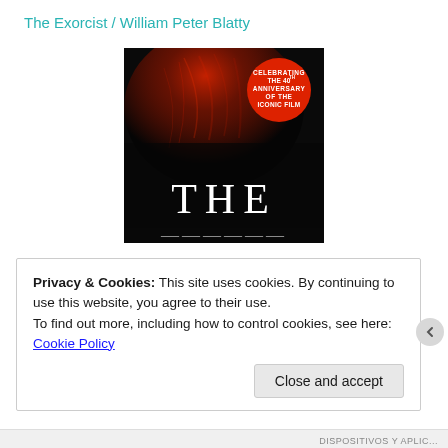The Exorcist / William Peter Blatty
[Figure (photo): Book cover of The Exorcist by William Peter Blatty. Dark background with a close-up of a person's hair in red lighting. A red circular seal reads 'CELEBRATING THE 40th ANNIVERSARY OF THE ICONIC FILM'. The word 'THE' appears in large white serif letters at the bottom.]
Privacy & Cookies: This site uses cookies. By continuing to use this website, you agree to their use.
To find out more, including how to control cookies, see here: Cookie Policy
Close and accept